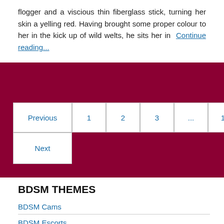flogger and a viscious thin fiberglass stick, turning her skin a yelling red. Having brought some proper colour to her in the kick up of wild welts, he sits her in Continue reading…
Previous
1
2
3
...
13
Next
BDSM THEMES
BDSM Cams
BDSM Escorts